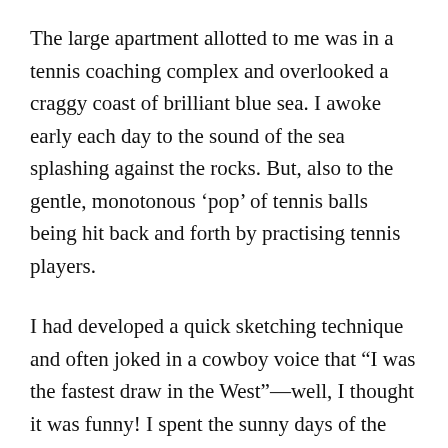The large apartment allotted to me was in a tennis coaching complex and overlooked a craggy coast of brilliant blue sea. I awoke early each day to the sound of the sea splashing against the rocks. But, also to the gentle, monotonous ‘pop’ of tennis balls being hit back and forth by practising tennis players.
I had developed a quick sketching technique and often joked in a cowboy voice that “I was the fastest draw in the West”—well, I thought it was funny! I spent the sunny days of the shoot, relaxed and enjoying sketching around the tennis courts.